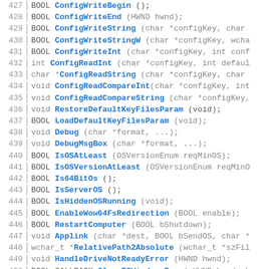[Figure (screenshot): Source code listing showing C/C++ function declarations, lines 427-456, with line numbers on the left, blue function names, and gray parameter types.]